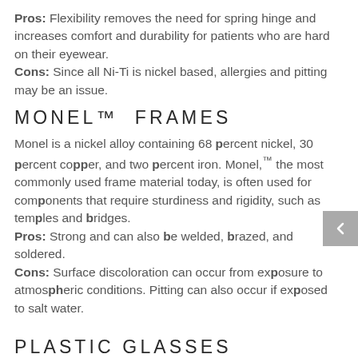Pros: Flexibility removes the need for spring hinge and increases comfort and durability for patients who are hard on their eyewear. Cons: Since all Ni-Ti is nickel based, allergies and pitting may be an issue.
MONEL™ FRAMES
Monel is a nickel alloy containing 68 percent nickel, 30 percent copper, and two percent iron. Monel,™ the most commonly used frame material today, is often used for components that require sturdiness and rigidity, such as temples and bridges. Pros: Strong and can also be welded, brazed, and soldered. Cons: Surface discoloration can occur from exposure to atmospheric conditions. Pitting can also occur if exposed to salt water.
PLASTIC GLASSES